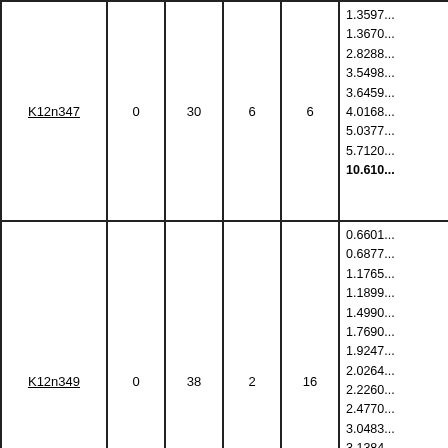| Name | Col2 | Col3 | Col4 | Col5 | Values |
| --- | --- | --- | --- | --- | --- |
| K12n347 | 0 | 30 | 6 | 6 | 1.3597...
1.3670...
2.8288...
3.5498...
3.6459...
4.0168...
5.0377...
5.7120...
10.610... |
| K12n349 | 0 | 38 | 2 | 16 | 0.6601...
0.6877...
1.1765...
1.1899...
1.4990...
1.7690...
1.9247...
2.0264...
2.2260...
2.4770...
3.0483...
3.1384...
3.2790...
3.5460...
4.1229...
4.3727... |